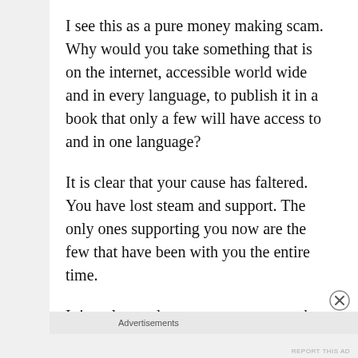I see this as a pure money making scam. Why would you take something that is on the internet, accessible world wide and in every language, to publish it in a book that only a few will have access to and in one language?
It is clear that your cause has faltered. You have lost steam and support. The only ones supporting you now are the few that have been with you the entire time.
It is truly a sad state to see someone that was in such an esteemed position, one called of God, to fall so far. But we have seen this before, haven't
Advertisements